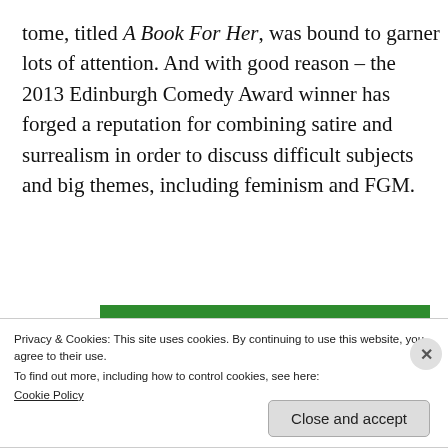tome, titled A Book For Her, was bound to garner lots of attention. And with good reason – the 2013 Edinburgh Comedy Award winner has forged a reputation for combining satire and surrealism in order to discuss difficult subjects and big themes, including feminism and FGM.
[Figure (other): WordPress backup plugin advertisement banner with green background and white bold text]
Privacy & Cookies: This site uses cookies. By continuing to use this website, you agree to their use.
To find out more, including how to control cookies, see here:
Cookie Policy
Close and accept